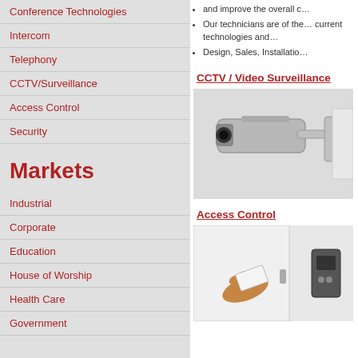Conference Technologies
Intercom
Telephony
CCTV/Surveillance
Access Control
Security
Markets
Industrial
Corporate
Education
House of Worship
Health Care
Government
and improve the overall c...
Our technicians are of the... current technologies and...
Design, Sales, Installatio...
CCTV / Video Surveillance
[Figure (photo): White security camera mounted on wall bracket, side view]
Access Control
[Figure (photo): Person holding key card near door access control reader]